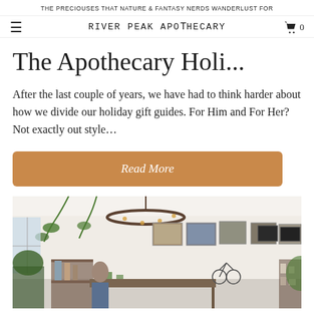THE PRECIOUSES THAT NATURE & FANTASY NERDS WANDERLUST FOR
RIVER PEAK APOTHECARY
The Apothecary Holi...
After the last couple of years, we have had to think harder about how we divide our holiday gift guides. For Him and For Her? Not exactly out style…
Read More
[Figure (photo): Interior of River Peak Apothecary store showing shelving with products, hanging plants, framed artwork on walls, and a circular chandelier.]